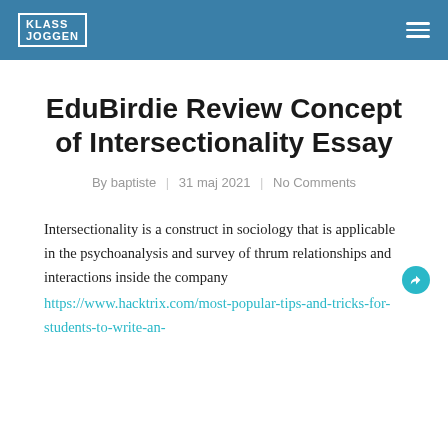KLASS JOGGEN
EduBirdie Review Concept of Intersectionality Essay
By baptiste  |  31 maj 2021  |  No Comments
Intersectionality is a construct in sociology that is applicable in the psychoanalysis and survey of thrum relationships and interactions inside the company
https://www.hacktrix.com/most-popular-tips-and-tricks-for-students-to-write-an-